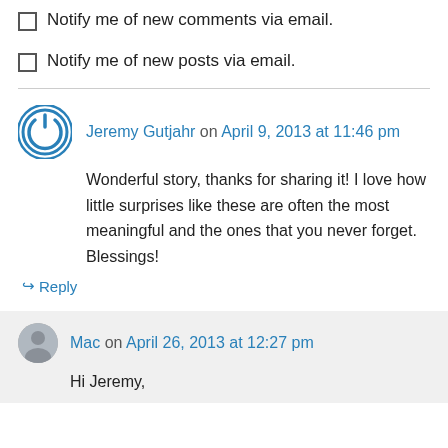Notify me of new comments via email.
Notify me of new posts via email.
Jeremy Gutjahr on April 9, 2013 at 11:46 pm
Wonderful story, thanks for sharing it! I love how little surprises like these are often the most meaningful and the ones that you never forget. Blessings!
↵ Reply
Mac on April 26, 2013 at 12:27 pm
Hi Jeremy,